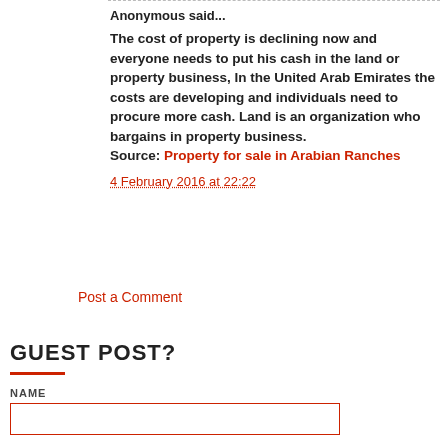Anonymous said...
The cost of property is declining now and everyone needs to put his cash in the land or property business, In the United Arab Emirates the costs are developing and individuals need to procure more cash. Land is an organization who bargains in property business.
Source: Property for sale in Arabian Ranches
4 February 2016 at 22:22
Post a Comment
GUEST POST?
NAME
EMAIL *
MESSAGE *